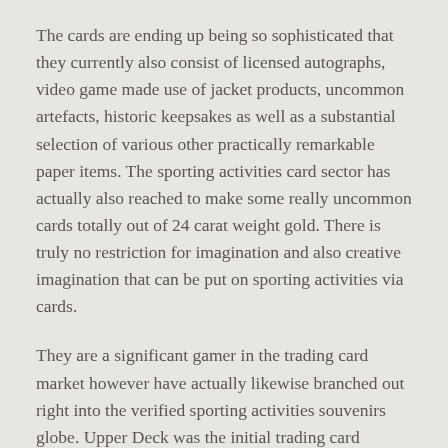The cards are ending up being so sophisticated that they currently also consist of licensed autographs, video game made use of jacket products, uncommon artefacts, historic keepsakes as well as a substantial selection of various other practically remarkable paper items. The sporting activities card sector has actually also reached to make some really uncommon cards totally out of 24 carat weight gold. There is truly no restriction for imagination and also creative imagination that can be put on sporting activities via cards.
They are a significant gamer in the trading card market however have actually likewise branched out right into the verified sporting activities souvenirs globe. Upper Deck was the initial trading card business to place arbitrarily signed cards of sporting activities super stars.